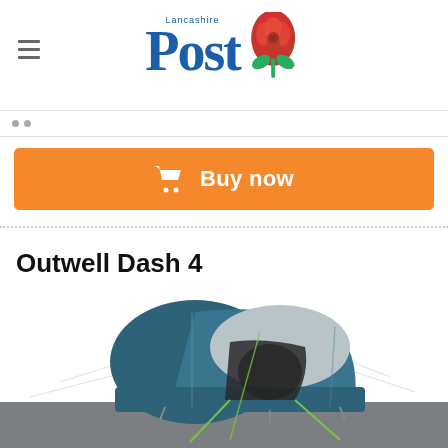Lancashire Post
[Figure (other): Buy now button with shopping cart icon, orange background, white text]
Outwell Dash 4
[Figure (photo): Outwell Dash 4 tent - blue and grey dome/tunnel camping tent on grey ground background]